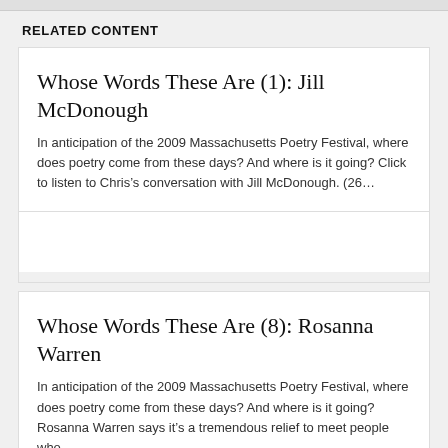RELATED CONTENT
Whose Words These Are (1): Jill McDonough
In anticipation of the 2009 Massachusetts Poetry Festival, where does poetry come from these days? And where is it going? Click to listen to Chris’s conversation with Jill McDonough. (26…
Whose Words These Are (8): Rosanna Warren
In anticipation of the 2009 Massachusetts Poetry Festival, where does poetry come from these days? And where is it going? Rosanna Warren says it’s a tremendous relief to meet people who…